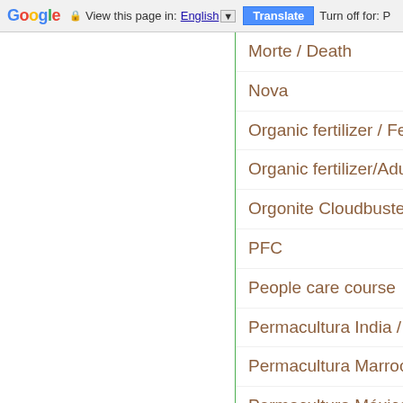Google  View this page in: English ▼  Translate  Turn off for: P
Morte / Death
Nova
Organic fertilizer / Fertilizante
Organic fertilizer/Adubos orgâ
Orgonite Cloudbuster
PFC
People care course
Permacultura India / Permacul
Permacultura Marrocos / Perm
Permacultura México
Permacultura urbana lisboa